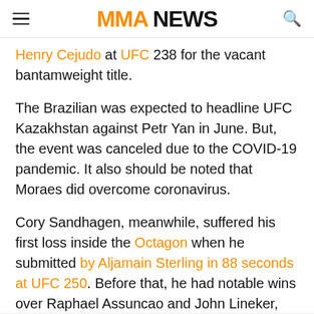MMA NEWS
Henry Cejudo at UFC 238 for the vacant bantamweight title.
The Brazilian was expected to headline UFC Kazakhstan against Petr Yan in June. But, the event was canceled due to the COVID-19 pandemic. It also should be noted that Moraes did overcome coronavirus.
Cory Sandhagen, meanwhile, suffered his first loss inside the Octagon when he submitted by Aljamain Sterling in 88 seconds at UFC 250. Before that, he had notable wins over Raphael Assuncao and John Lineker, but this will be the first time he is headlining a UFC show and going five rounds.